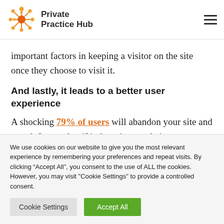Private Practice Hub
important factors in keeping a visitor on the site once they choose to visit it.
And lastly, it leads to a better user experience
A shocking 79% of users will abandon your site and search for another if it doesn’t meet their
We use cookies on our website to give you the most relevant experience by remembering your preferences and repeat visits. By clicking “Accept All”, you consent to the use of ALL the cookies. However, you may visit "Cookie Settings" to provide a controlled consent.